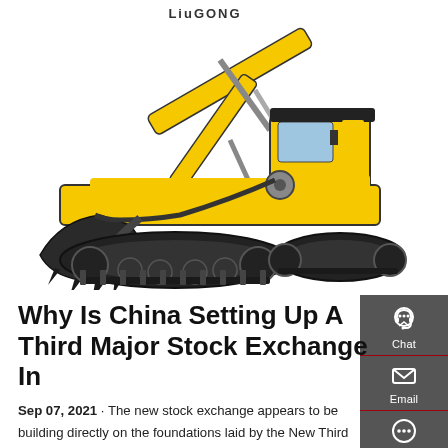[Figure (photo): A yellow LiuGong excavator (construction equipment) photographed against a white background, showing the arm, bucket, cab, and tracks.]
Why Is China Setting Up A Third Major Stock Exchange In
Sep 07, 2021 · The new stock exchange appears to be building directly on the foundations laid by the New Third Board. On Sunday, the Beijing Stock Exchange released its rules for listing and trading on the new market for public scrutiny — and the listing requirements are identical to those used by the New Third Board for its "select" tier.